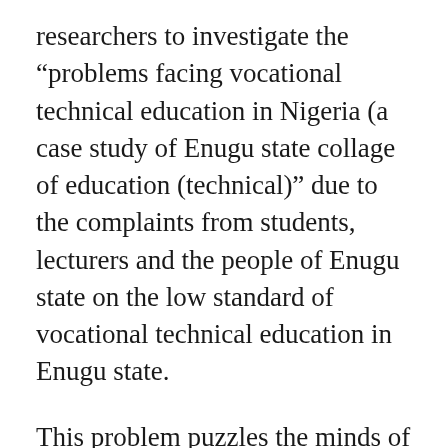researchers to investigate the “problems facing vocational technical education in Nigeria (a case study of Enugu state collage of education (technical)” due to the complaints from students, lecturers and the people of Enugu state on the low standard of vocational technical education in Enugu state.
This problem puzzles the minds of the students, lecturers and all concern citizens and imposed questions to them as: could it be that governments do not know the importance of vocational technical education in nation’s